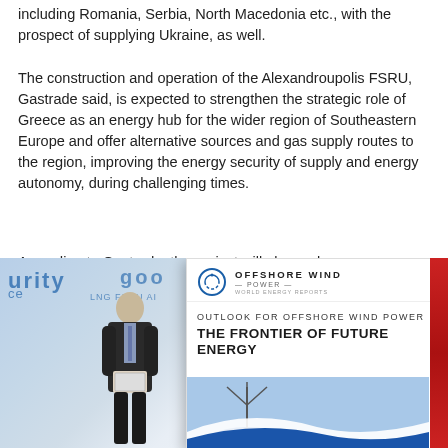including Romania, Serbia, North Macedonia etc., with the prospect of supplying Ukraine, as well.
The construction and operation of the Alexandroupolis FSRU, Gastrade said, is expected to strengthen the strategic role of Greece as an energy hub for the wider region of Southeastern Europe and offer alternative sources and gas supply routes to the region, improving the energy security of supply and energy autonomy, during challenging times.
According to Gastrade, the project will also make Alexandroupolis an energy gateway for the entire region of Southeastern Europe, highlighting the strategic importance of the city and stimulating the local economy and employment.
[Figure (photo): Composite photo showing a partial conference banner on the left with blue text, a person standing holding a tablet/booklet in the middle, and an overlapping magazine/report cover on the right. The magazine is titled 'Offshore Wind Power - World Energy Reports' with headline 'Outlook for Offshore Wind Power: The Frontier of Future Energy', featuring a circular wind turbine image at the bottom. A red strip appears on the far right edge.]